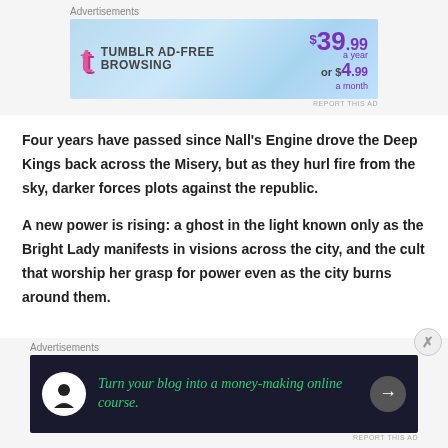Advertisements
[Figure (photo): Tumblr AD-FREE BROWSING advertisement banner with blue gradient background, Tumblr logo, and pricing: $39.99 a year or $4.99 a month]
Four years have passed since Nall's Engine drove the Deep Kings back across the Misery, but as they hurl fire from the sky, darker forces plots against the republic.
A new power is rising: a ghost in the light known only as the Bright Lady manifests in visions across the city, and the cult that worship her grasp for power even as the city burns around them.
Advertisements
[Figure (photo): Dark advertisement banner: Turn your blog into a money-making online course, with arrow button]